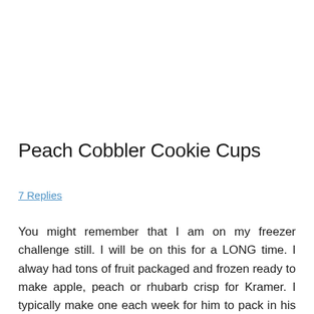Peach Cobbler Cookie Cups
7 Replies
You might remember that I am on my freezer challenge still.  I will be on this for a LONG time.  I alway had tons of fruit packaged and frozen ready to make apple, peach or rhubarb crisp for Kramer.  I typically make one each week for him to pack in his lunch.  Well he passed away last June and I am not at all using the frozen fruit as I hoped.  I have a lot and am